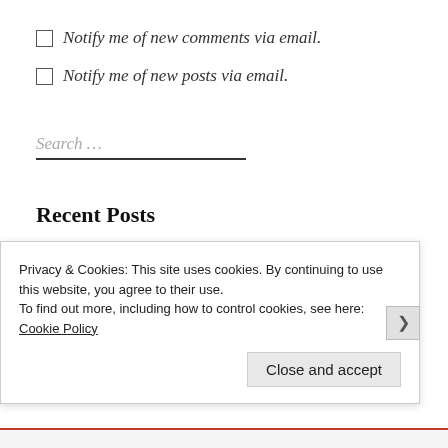Notify me of new comments via email.
Notify me of new posts via email.
Search …
Recent Posts
Bon Appetit's Best Buttermilk Biscuits
Privacy & Cookies: This site uses cookies. By continuing to use this website, you agree to their use.
To find out more, including how to control cookies, see here: Cookie Policy
Close and accept